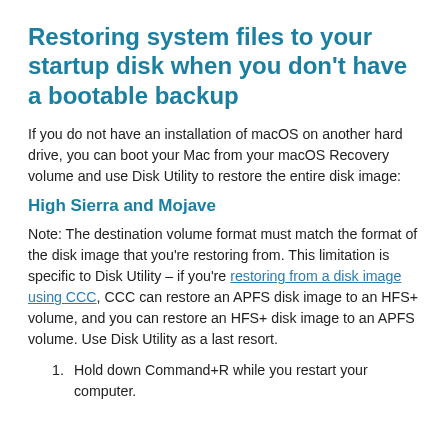Restoring system files to your startup disk when you don't have a bootable backup
If you do not have an installation of macOS on another hard drive, you can boot your Mac from your macOS Recovery volume and use Disk Utility to restore the entire disk image:
High Sierra and Mojave
Note: The destination volume format must match the format of the disk image that you're restoring from. This limitation is specific to Disk Utility – if you're restoring from a disk image using CCC, CCC can restore an APFS disk image to an HFS+ volume, and you can restore an HFS+ disk image to an APFS volume. Use Disk Utility as a last resort.
Hold down Command+R while you restart your computer.